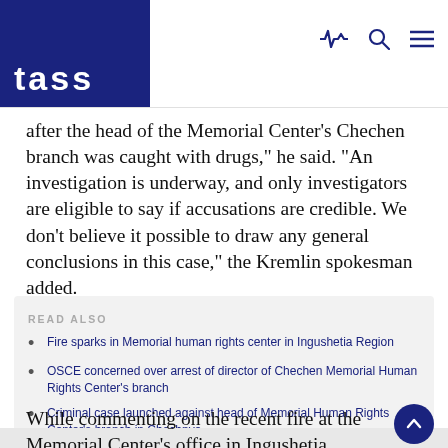TASS
after the head of the Memorial Center's Chechen branch was caught with drugs," he said. "An investigation is underway, and only investigators are eligible to say if accusations are credible. We don't believe it possible to draw any general conclusions in this case," the Kremlin spokesman added.
READ ALSO
Fire sparks in Memorial human rights center in Ingushetia Region
OSCE concerned over arrest of director of Chechen Memorial Human Rights Center's branch
Criminal case launched against head of Memorial Human Rights Center's branch in Chechnya
While commenting on the recent fire at the Memorial Center's office in Ingushetia, Peskov said that "that is